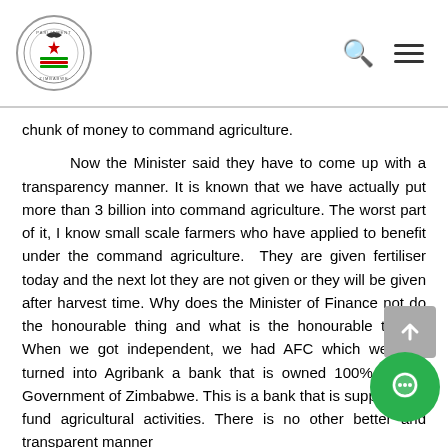Parliament of Zimbabwe
chunk of money to command agriculture.
Now the Minister said they have to come up with a transparency manner. It is known that we have actually put more than 3 billion into command agriculture. The worst part of it, I know small scale farmers who have applied to benefit under the command agriculture. They are given fertiliser today and the next lot they are not given or they will be given after harvest time. Why does the Minister of Finance not do the honourable thing and what is the honourable thing? When we got independent, we had AFC which we then turned into Agribank a bank that is owned 100% by the Government of Zimbabwe. This is a bank that is supposed to fund agricultural activities. There is no other better and transparent manner